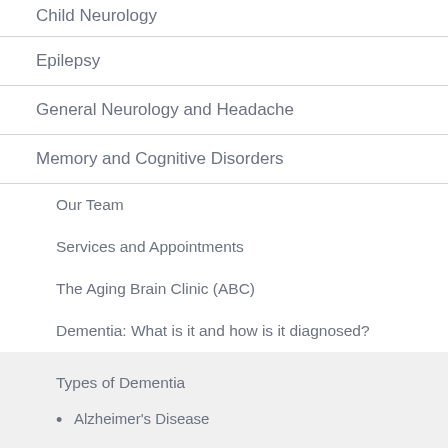Child Neurology
Epilepsy
General Neurology and Headache
Memory and Cognitive Disorders
Our Team
Services and Appointments
The Aging Brain Clinic (ABC)
Dementia: What is it and how is it diagnosed?
Types of Dementia
Alzheimer's Disease
Lewy Body Dementia